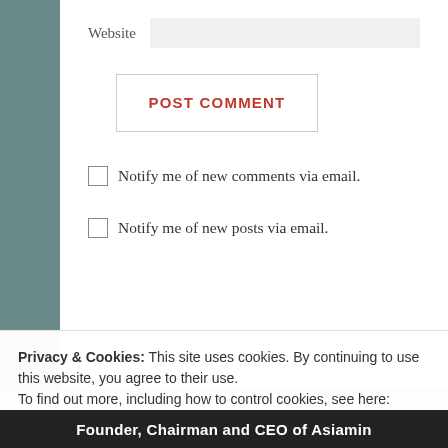Website
POST COMMENT
Notify me of new comments via email.
Notify me of new posts via email.
Search
Privacy & Cookies: This site uses cookies. By continuing to use this website, you agree to their use.
To find out more, including how to control cookies, see here: Cookie Policy
Close and accept
Founder, Chairman and CEO of Asiamin